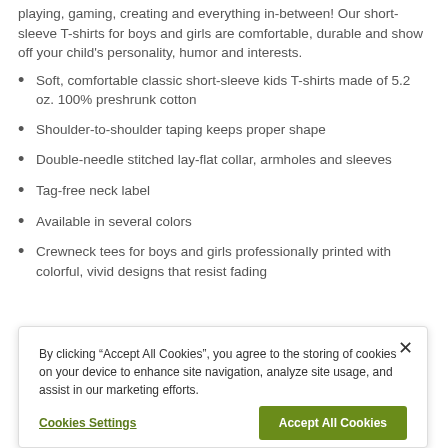playing, gaming, creating and everything in-between! Our short-sleeve T-shirts for boys and girls are comfortable, durable and show off your child's personality, humor and interests.
Soft, comfortable classic short-sleeve kids T-shirts made of 5.2 oz. 100% preshrunk cotton
Shoulder-to-shoulder taping keeps proper shape
Double-needle stitched lay-flat collar, armholes and sleeves
Tag-free neck label
Available in several colors
Crewneck tees for boys and girls professionally printed with colorful, vivid designs that resist fading
By clicking “Accept All Cookies”, you agree to the storing of cookies on your device to enhance site navigation, analyze site usage, and assist in our marketing efforts.
Cookies Settings | Accept All Cookies